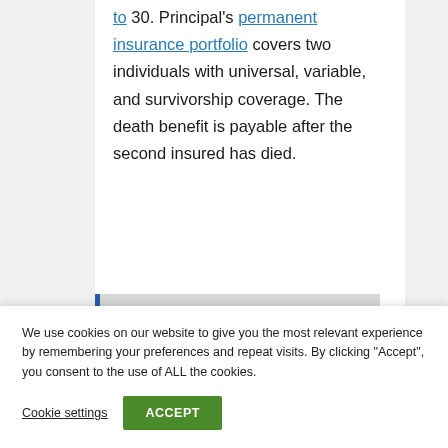to 30. Principal's permanent insurance portfolio covers two individuals with universal, variable, and survivorship coverage. The death benefit is payable after the second insured has died.
We use cookies on our website to give you the most relevant experience by remembering your preferences and repeat visits. By clicking "Accept", you consent to the use of ALL the cookies.